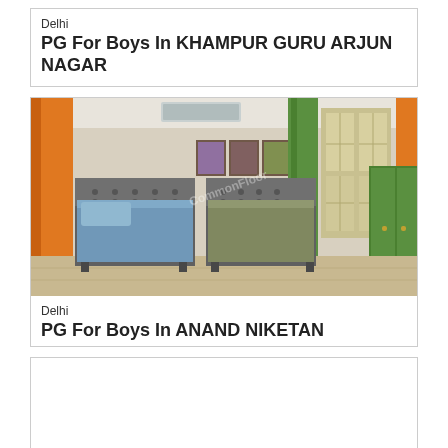Delhi
PG For Boys In KHAMPUR GURU ARJUN NAGAR
[Figure (photo): Interior of a PG room with two single beds with blue and green mattresses, orange and green curtains, and a green wardrobe]
Delhi
PG For Boys In ANAND NIKETAN
[Figure (photo): Partial view of a similar PG room interior with orange and green curtains, beds, and framed pictures on wall]